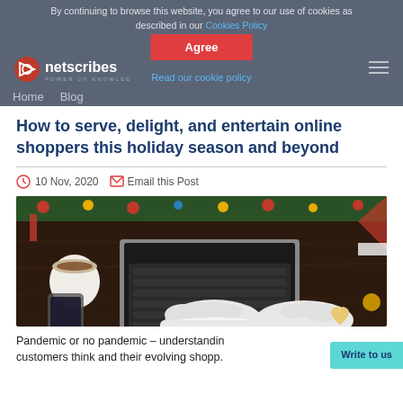By continuing to browse this website, you agree to our use of cookies as described in our Cookies Policy
Agree
Read our cookie policy
How to serve, delight, and entertain online shoppers this holiday season and beyond
10 Nov, 2020   Email this Post
[Figure (photo): Overhead view of Santa Claus hands typing on a laptop keyboard surrounded by Christmas decorations including holly, ornaments, a coffee cup, smartphone, and a heart-shaped cookie on a dark wooden background.]
Pandemic or no pandemic – understanding customers think and their evolving shopp.